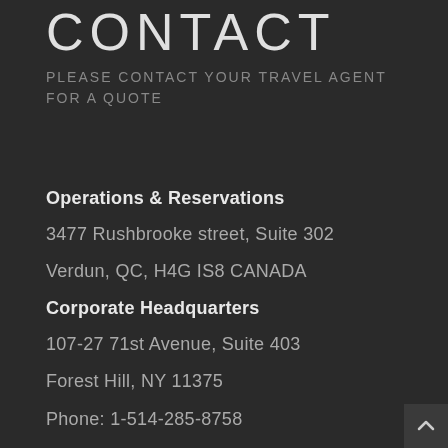CONTACT
PLEASE CONTACT YOUR TRAVEL AGENT FOR A QUOTE
Operations & Reservations
3477 Rushbrooke street, Suite 302
Verdun, QC, H4G IS8 CANADA
Corporate Headquarters
107-27 71st Avenue, Suite 403
Forest Hill, NY 11375
Phone: 1-514-285-8758